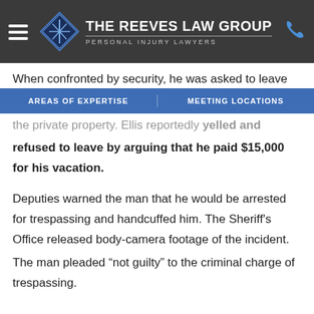[Figure (logo): The Reeves Law Group logo with diamond shape and text 'THE REEVES LAW GROUP PERSONAL INJURY LAWYERS' on dark background with hamburger menu and phone icon]
AREAS OF EXPERTISE   MEETING LOCATIONS
When confronted by security, he was asked to leave the private property. Ellis reportedly yelled and refused to leave by arguing that he paid $15,000 for his vacation.
Deputies warned the man that he would be arrested for trespassing and handcuffed him. The Sheriff's Office released body-camera footage of the incident. The man pleaded “not guilty” to the criminal charge of trespassing.
WHEN CAN YOU BE ARRESTED FOR TRESPASSING ON PRIVATE PROPERTY?